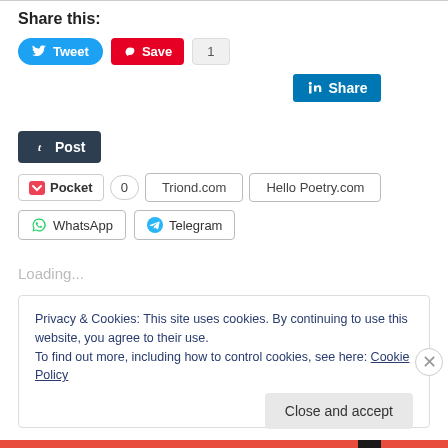Share this:
Tweet | Save | 1 (social share buttons row 1)
Share (LinkedIn button)
Post (Tumblr button)
Pocket | 0 | Triond.com | Hello Poetry.com
WhatsApp | Telegram
Loading...
Privacy & Cookies: This site uses cookies. By continuing to use this website, you agree to their use.
To find out more, including how to control cookies, see here: Cookie Policy
Close and accept